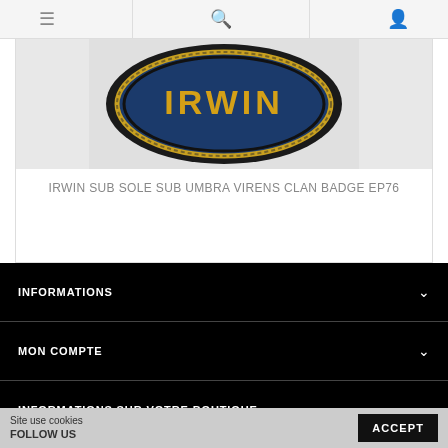≡  🔍  👤
[Figure (photo): Irwin clan badge embroidered patch on blue background with gold text reading IRWIN, oval shape with dark border]
IRWIN SUB SOLE SUB UMBRA VIRENS CLAN BADGE EP76
INFORMATIONS
MON COMPTE
INFORMATIONS SUR VOTRE BOUTIQUE
Site use cookies
FOLLOW US
ACCEPT